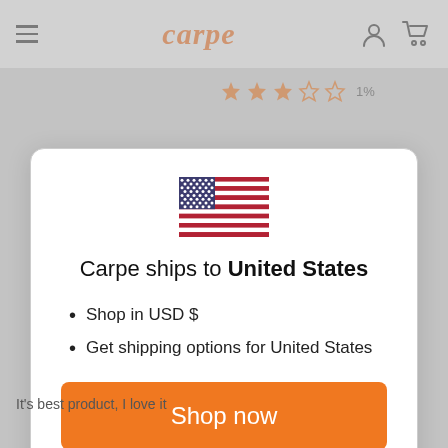carpe
[Figure (illustration): US Flag icon in modal dialog]
Carpe ships to United States
Shop in USD $
Get shipping options for United States
Shop now
It's best product, I love it